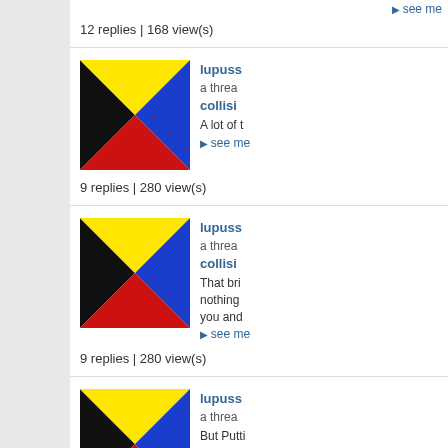▶ see me
12 replies | 168 view(s)
[Figure (illustration): Forum avatar: square icon divided into 4 triangles colored black (left), yellow (top), blue (right), red (bottom)]
lupuss a thread in collisi
A lot of t
▶ see me
9 replies | 280 view(s)
[Figure (illustration): Forum avatar: square icon divided into 4 triangles colored black (left), yellow (top), blue (right), red (bottom)]
lupuss a thread in collisi
That bri nothing you and
▶ see me
9 replies | 280 view(s)
[Figure (illustration): Forum avatar: square icon divided into 4 triangles colored black (left), yellow (top), blue (right), red (bottom)]
lupuss a threa
But Putti